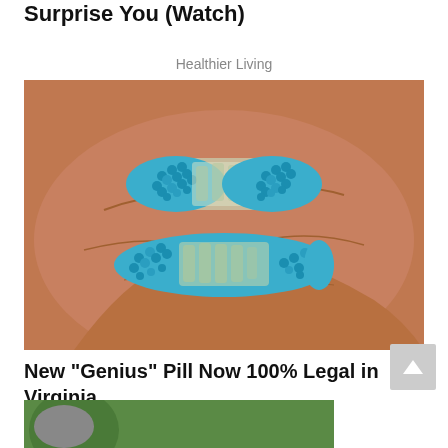Surprise You (Watch)
Healthier Living
[Figure (photo): Two blue and clear capsule pills resting in a person's palm. The capsules have turquoise/blue beaded outer coating with a transparent middle section.]
New "Genius" Pill Now 100% Legal in Virginia
The Healthy Living Club
[Figure (photo): Partial view of a person outdoors, bottom of page, green background visible.]